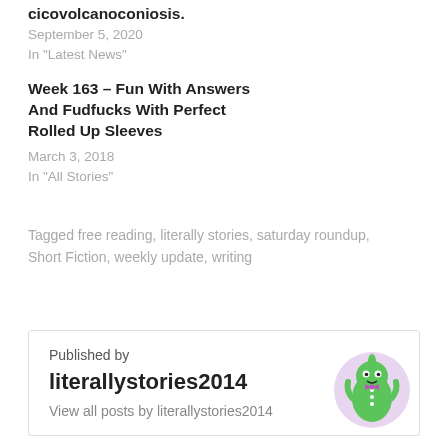cicovolcanoconiosis.
September 5, 2020
In "Latest News"
Week 163 – Fun With Answers And Fudfucks With Perfect Rolled Up Sleeves
March 3, 2018
In "All Stories"
Tagged free reading, literally stories, saturday roundup, Short Fiction, weekly update, writing
Published by
literallystories2014
View all posts by literallystories2014
[Figure (illustration): Green cartoon character avatar in a pink/lavender circle, with a small horn and pink bow tie, wearing a green outfit with white buttons.]